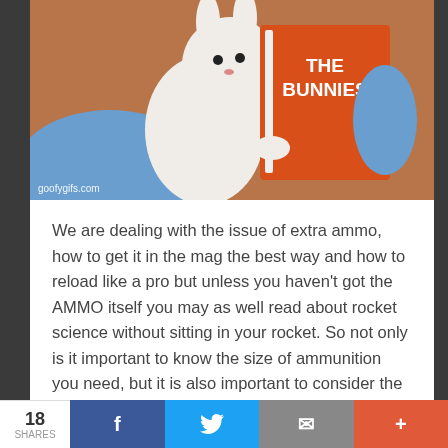[Figure (illustration): Cartoon character (white bear/rabbit-like figure in blue) reading an orange book with text 'THE BUNNIES' on the cover, brown background. Watermark 'goofygifs.com' in bottom left of image.]
We are dealing with the issue of extra ammo, how to get it in the mag the best way and how to reload like a pro but unless you haven't got the AMMO itself you may as well read about rocket science without sitting in your rocket. So not only is it important to know the size of ammunition you need, but it is also important to consider the use you have intended for the bullets that you are picking out. Consider the type of ammo that you prefer. The type of bullet varies and may be important if you are
18 SHARES  f  [twitter bird]  [mail]  +